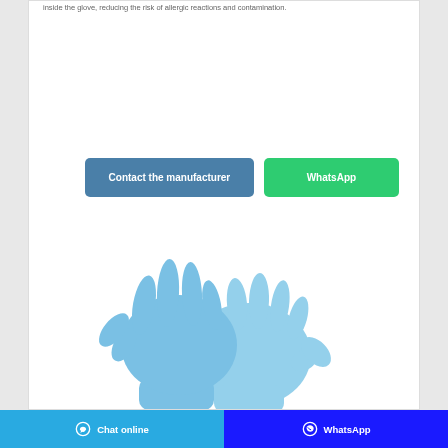inside the glove, reducing the risk of allergic reactions and contamination.
[Figure (illustration): Two blue nitrile medical gloves shown on hands, overlapping, on a white background.]
Contact the manufacturer
WhatsApp
Chat online   WhatsApp